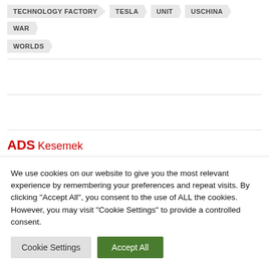TECHNOLOGY FACTORY
TESLA
UNIT
USCHINA
WAR
WORLDS
ADS
Kesemek
We use cookies on our website to give you the most relevant experience by remembering your preferences and repeat visits. By clicking “Accept All”, you consent to the use of ALL the cookies. However, you may visit "Cookie Settings" to provide a controlled consent.
Cookie Settings | Accept All